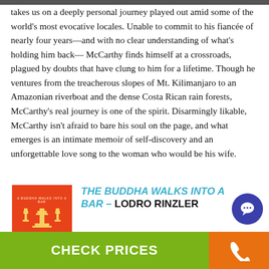takes us on a deeply personal journey played out amid some of the world's most evocative locales. Unable to commit to his fiancée of nearly four years—and with no clear understanding of what's holding him back— McCarthy finds himself at a crossroads, plagued by doubts that have clung to him for a lifetime. Though he ventures from the treacherous slopes of Mt. Kilimanjaro to an Amazonian riverboat and the dense Costa Rican rain forests, McCarthy's real journey is one of the spirit. Disarmingly likable, McCarthy isn't afraid to bare his soul on the page, and what emerges is an intimate memoir of self-discovery and an unforgettable love song to the woman who would be his wife.
[Figure (photo): Book cover of The Buddha Walks into a Bar by Lodro Rinzler, red cover with golden stupa/pagoda graphics]
THE BUDDHA WALKS INTO A BAR – LODRO RINZLER
The Buddha Walks into a Bar is a book fo...